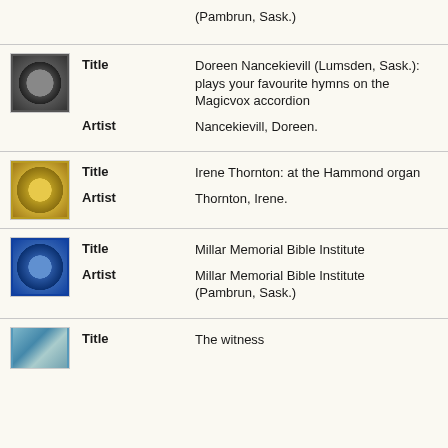(Pambrun, Sask.)
| Title | Doreen Nancekievill (Lumsden, Sask.): plays your favourite hymns on the Magicvox accordion |
| Artist | Nancekievill, Doreen. |
| Title | Irene Thornton: at the Hammond organ |
| Artist | Thornton, Irene. |
| Title | Millar Memorial Bible Institute |
| Artist | Millar Memorial Bible Institute (Pambrun, Sask.) |
| Title | The witness |